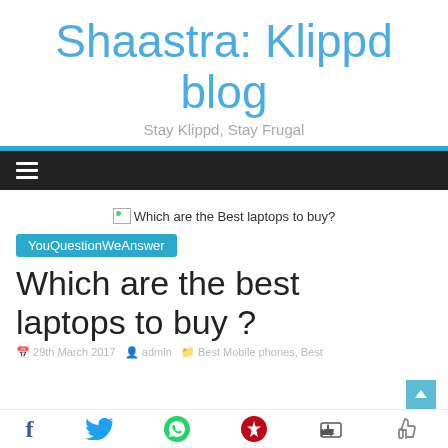Shaastra: Klippd blog
Stay Klippd, Stay Frugal
[Figure (screenshot): Broken image placeholder with alt text: Which are the Best laptops to buy?]
YouQuestionWeAnswer
Which are the best laptops to buy ?
29th March 2017  admin  Best Mobile phones, Best
[Figure (infographic): Social sharing bar with Facebook, Twitter, WhatsApp, Pinterest, and Like icons]